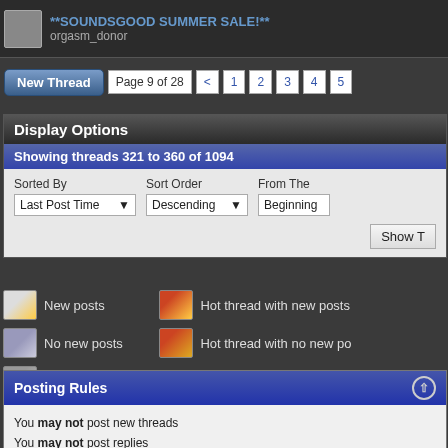**SOUNDSGOOD SUMMER SALE!** orgasm_donor
New Thread  Page 9 of 28  < 1 2 3 4 5
Display Options
Showing threads 321 to 360 of 1094
Sorted By: Last Post Time | Sort Order: Descending | From The: Beginning
Show T
New posts
Hot thread with new posts
No new posts
Hot thread with no new po
Thread is closed
Posting Rules
You may not post new threads
You may not post replies
You may not post attachments
You may not edit your posts
BB code is On
Smilies are On
[IMG] code is On
HTML code is On
Forum Rules